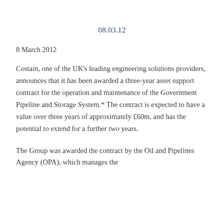08.03.12
8 March 2012
Costain, one of the UK's leading engineering solutions providers, announces that it has been awarded a three-year asset support contract for the operation and maintenance of the Government Pipeline and Storage System.* The contract is expected to have a value over three years of approximately £60m, and has the potential to extend for a further two years.
The Group was awarded the contract by the Oil and Pipelines Agency (OPA), which manages the